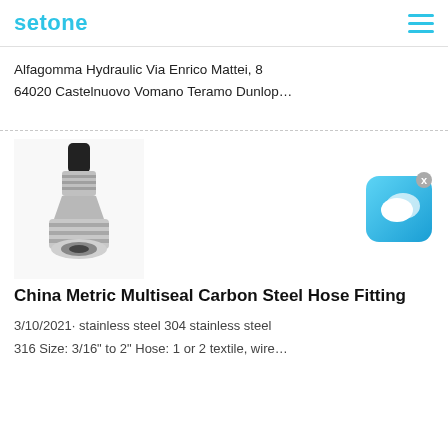setone
Alfagomma Hydraulic Via Enrico Mattei, 8
64020 Castelnuovo Vomano Teramo Dunlop…
[Figure (logo): Chat/messaging app icon — rounded square with blue gradient background and two overlapping speech bubble icons in white]
[Figure (photo): Product photo of a China Metric Multiseal Carbon Steel Hose Fitting — a metallic hydraulic hose fitting with a black rubber end and silver crimp sleeve]
China Metric Multiseal Carbon Steel Hose Fitting
3/10/2021· stainless steel 304 stainless steel
316 Size: 3/16" to 2" Hose: 1 or 2 textile, wire…